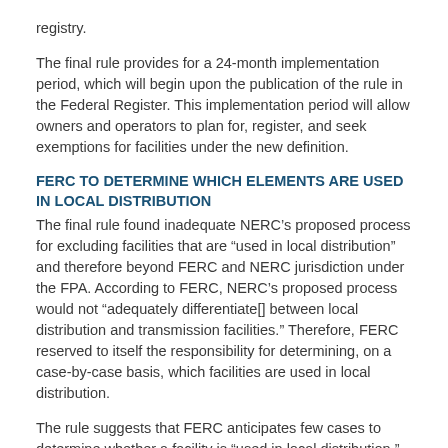registry.
The final rule provides for a 24-month implementation period, which will begin upon the publication of the rule in the Federal Register.  This implementation period will allow owners and operators to plan for, register, and seek exemptions for facilities under the new definition.
FERC TO DETERMINE WHICH ELEMENTS ARE USED IN LOCAL DISTRIBUTION
The final rule found inadequate NERC’s proposed process for excluding facilities that are “used in local distribution” and therefore beyond FERC and NERC jurisdiction under the FPA.  According to FERC, NERC’s proposed process would not “adequately differentiate[] between local distribution and transmission facilities.”  Therefore, FERC reserved to itself the responsibility for determining, on a case-by-case basis, which facilities are used in local distribution.
The rule suggests that FERC anticipates few cases to determine whether a facility is “used in local distribution,” because of the detailed process established by the new BES definition and the inclusion and exclusion process.  In such cases, however, the Final Rule requires regulated